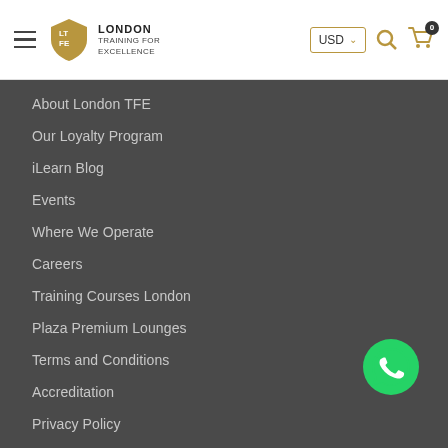London Training For Excellence — navigation header with USD selector
About London TFE
Our Loyalty Program
iLearn Blog
Events
Where We Operate
Careers
Training Courses London
Plaza Premium Lounges
Terms and Conditions
Accreditation
Privacy Policy
2022 Directory
Sitemap
Our response to COVID-19
[Figure (logo): WhatsApp green logo icon]